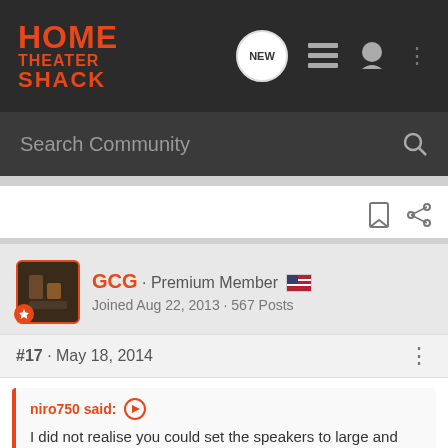HOME THEATER SHACK
Search Community
GCG · Premium Member
Joined Aug 22, 2013 · 567 Posts
#17 · May 18, 2014
niro750 said: I did not realise you could set the speakers to large and small between the MCACC presets btw, although I know they existed so that's a
[Figure (screenshot): SVS SoundPath Audio Accessories advertisement banner]